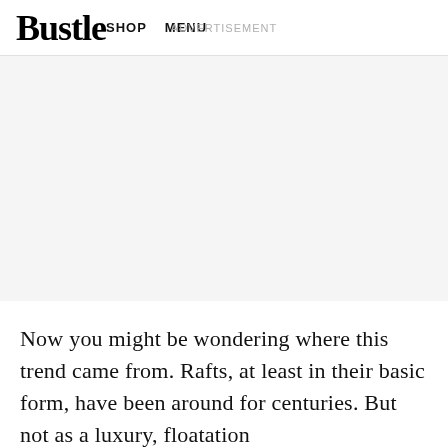Bustle  ADVERTISEMENT  SHOP  MENU
[Figure (other): Advertisement banner placeholder area with light gray background]
Now you might be wondering where this trend came from. Rafts, at least in their basic form, have been around for centuries. But not as a luxury, floatation